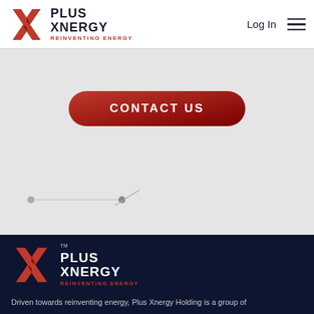[Figure (logo): Plus Xnergy logo with red X graphic and brand name PLUS XNERGY with tagline REINVENTING ENERGY in header]
Log In
[Figure (infographic): CONTACT US button - red pill-shaped button with white text]
[Figure (infographic): Slider timeline indicator with two dots connected by a line and a diagonal arrow]
[Figure (logo): Plus Xnergy logo with red X graphic and brand name PLUS XNERGY with tagline REINVENTING ENERGY on dark navy background]
Driven towards reinventing energy, Plus Xnergy Holding is a group of